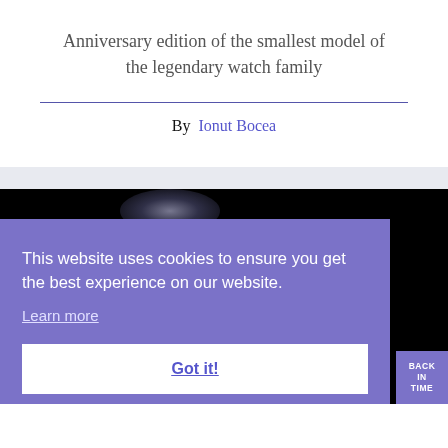Anniversary edition of the smallest model of the legendary watch family
By Ionut Bocea
[Figure (photo): Dark background photo of a watch with a purple cookie consent overlay banner reading 'This website uses cookies to ensure you get the best experience on our website. Learn more' and a 'Got it!' button. A 'BACK IN TIME' button appears in the bottom right corner.]